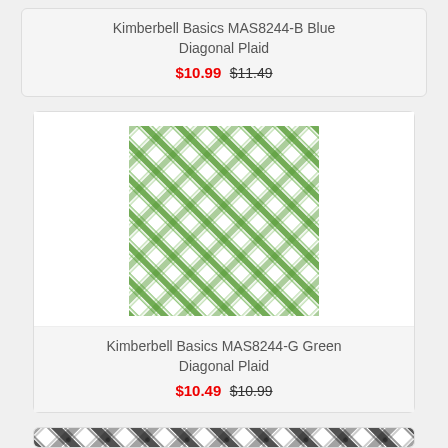Kimberbell Basics MAS8244-B Blue Diagonal Plaid
$10.99  $11.49
[Figure (photo): Green diagonal plaid fabric swatch — Kimberbell Basics MAS8244-G]
Kimberbell Basics MAS8244-G Green Diagonal Plaid
$10.49  $10.99
[Figure (photo): Black and white diagonal plaid fabric swatch (partial, bottom of page)]